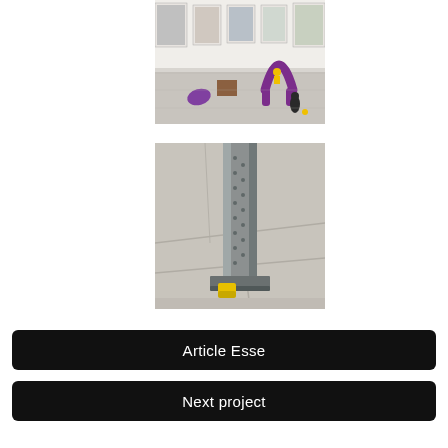[Figure (photo): Gallery interior with sculptures on floor including a purple arch-like sculpture and a yellow figure. Framed artworks hang on the white wall in the background.]
[Figure (photo): Close-up of a metal structural column or post with a small yellow object at its base, on a concrete floor with joint lines visible.]
Article Esse
Next project